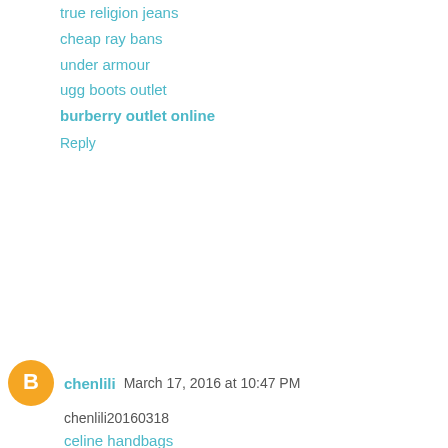true religion jeans
cheap ray bans
under armour
ugg boots outlet
burberry outlet online
Reply
chenlili  March 17, 2016 at 10:47 PM
chenlili20160318
celine handbags
polo ralph lauren
michael kors
fitflop clearance
ugg boots
michael kors outlet online
oakley sunglasses
louis vuitton handbags
ray ban sunglasses
coach outlet
cheap basketball shoes
nike roshe run mens